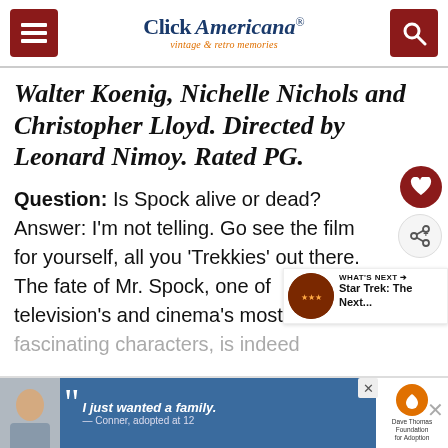Click Americana — vintage & retro memories
Walter Koenig, Nichelle Nichols and Christopher Lloyd. Directed by Leonard Nimoy. Rated PG.
Question: Is Spock alive or dead? Answer: I'm not telling. Go see the film for yourself, all you 'Trekkies' out there. The fate of Mr. Spock, one of television's and cinema's most fascinating characters, is indeed
[Figure (screenshot): What's Next widget with Star Trek thumbnail and text 'Star Trek: The Next...']
[Figure (screenshot): Dave Thomas Foundation for Adoption advertisement with quote 'I just wanted a family. — Conner, adopted at 12']